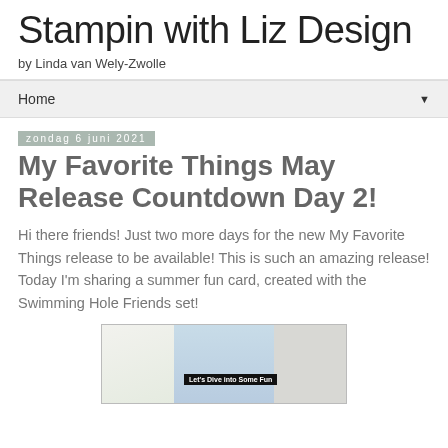Stampin with Liz Design
by Linda van Wely-Zwolle
Home
zondag 6 juni 2021
My Favorite Things May Release Countdown Day 2!
Hi there friends! Just two more days for the new My Favorite Things release to be available! This is such an amazing release! Today I'm sharing a summer fun card, created with the Swimming Hole Friends set!
[Figure (photo): Photo of a handmade card with 'Let's Dive into Some Fun' text, featuring cartoon characters, with white flowers on the left and sketch/die cut images on the right]